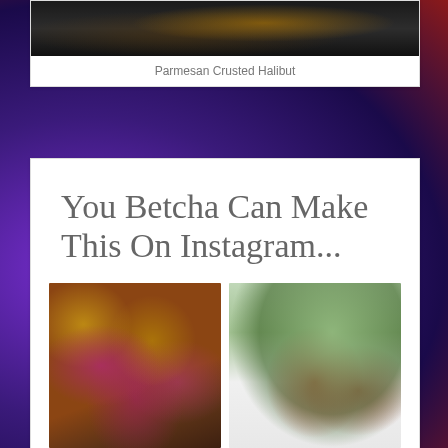[Figure (photo): Parmesan Crusted Halibut dish photo (dark background)]
Parmesan Crusted Halibut
You Betcha Can Make This On Instagram...
[Figure (photo): Close-up of colorful yellow and purple petunias/calibrachoa flowers in a red planter with green foliage]
[Figure (photo): Hummingbird near red flowering salvia plants with green tree foliage in background]
[Figure (photo): Partially visible photo at bottom left]
[Figure (photo): Partially visible photo at bottom right with cursive New M... text overlay]